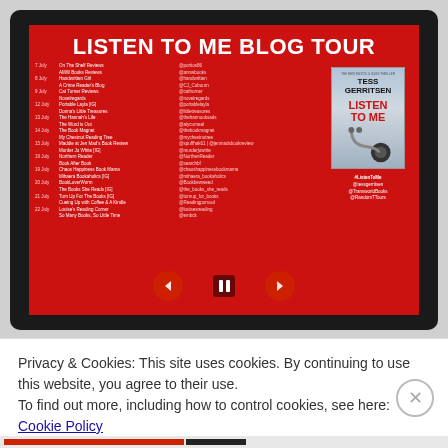[Figure (screenshot): Laptop screen showing a red blog tour promotional image for 'Listen To Me Blog Tour' by Tess Gerritsen, with a schedule of blog stops, dates, and Twitter handles, plus the book cover. Navigation arrows and a pause button overlay the image.]
Privacy & Cookies: This site uses cookies. By continuing to use this website, you agree to their use.
To find out more, including how to control cookies, see here: Cookie Policy
Close and accept